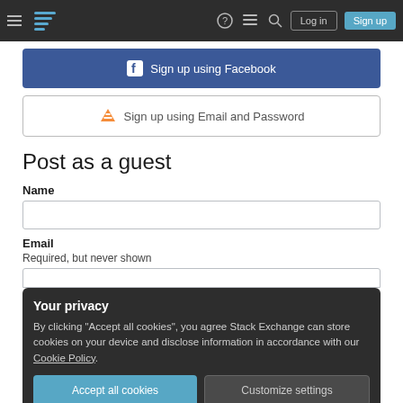Stack Exchange navigation bar with hamburger menu, logo, help, chat, search icons, Log in and Sign up buttons
[Figure (screenshot): Sign up using Facebook button (blue background with Facebook icon)]
[Figure (screenshot): Sign up using Email and Password button (white background with Stack Overflow icon)]
Post as a guest
Name
[Figure (screenshot): Name input text field]
Email
Required, but never shown
[Figure (screenshot): Email input text field (partially visible)]
Your privacy
By clicking “Accept all cookies”, you agree Stack Exchange can store cookies on your device and disclose information in accordance with our Cookie Policy.
[Figure (screenshot): Accept all cookies and Customize settings buttons]
Not the answer you’re looking for? Browse other questions